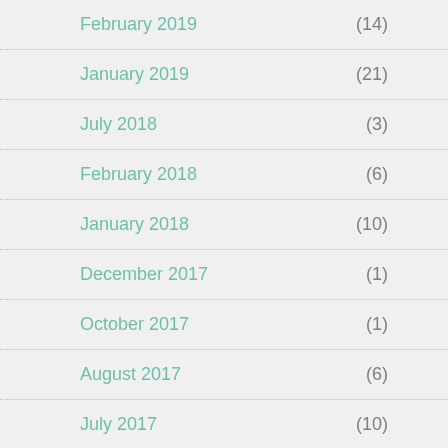February 2019 (14)
January 2019 (21)
July 2018 (3)
February 2018 (6)
January 2018 (10)
December 2017 (1)
October 2017 (1)
August 2017 (6)
July 2017 (10)
June 2017 (5)